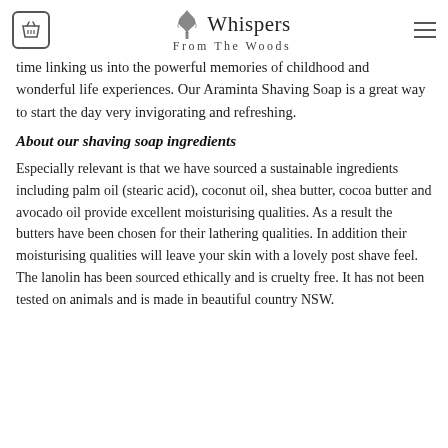Whispers From The Woods
time linking us into the powerful memories of childhood and wonderful life experiences. Our Araminta Shaving Soap is a great way to start the day very invigorating and refreshing.
About our shaving soap ingredients
Especially relevant is that we have sourced a sustainable ingredients including palm oil (stearic acid), coconut oil, shea butter, cocoa butter and avocado oil provide excellent moisturising qualities. As a result the butters have been chosen for their lathering qualities. In addition their moisturising qualities will leave your skin with a lovely post shave feel. The lanolin has been sourced ethically and is cruelty free. It has not been tested on animals and is made in beautiful country NSW.